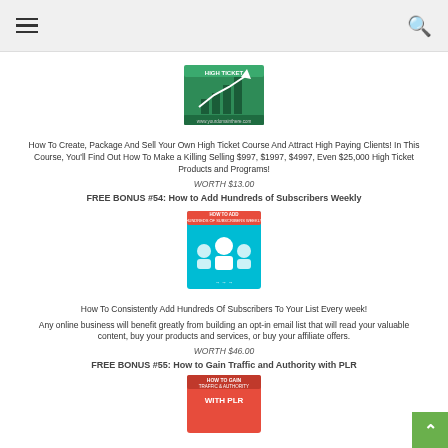[Figure (illustration): Green box product image with bar chart graphic - High Ticket Course product]
How To Create, Package And Sell Your Own High Ticket Course And Attract High Paying Clients! In This Course, You'll Find Out How To Make a Killing Selling $997, $1997, $4997, Even $25,000 High Ticket Products and Programs!
WORTH $13.00
FREE BONUS #54: How to Add Hundreds of Subscribers Weekly
[Figure (illustration): Teal/blue box product image with subscriber icons - How To Add Hundreds of Subscribers Weekly product]
How To Consistently Add Hundreds Of Subscribers To Your List Every week!
Any online business will benefit greatly from building an opt-in email list that will read your valuable content, buy your products and services, or buy your affiliate offers.
WORTH $46.00
FREE BONUS #55: How to Gain Traffic and Authority with PLR
[Figure (illustration): Orange/red box product image - How To Gain Traffic & Authority With PLR]